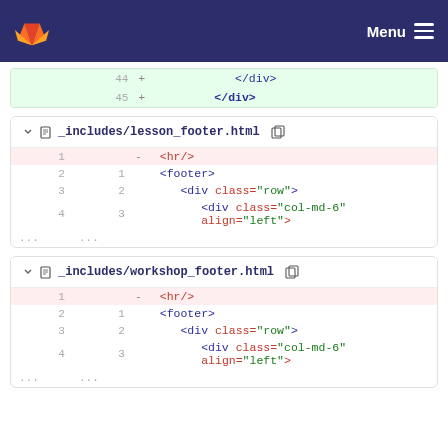GitLab navigation bar with logo and Menu
44  +    </div>
45  + </div>
_includes/lesson_footer.html
1   - <hr/>
2  1   <footer>
3  2     <div class="row">
4  3       <div class="col-md-6" align="left">
...  ...
_includes/workshop_footer.html
1   - <hr/>
2  1   <footer>
3  2     <div class="row">
4  3       <div class="col-md-6" align="left">
...  ...